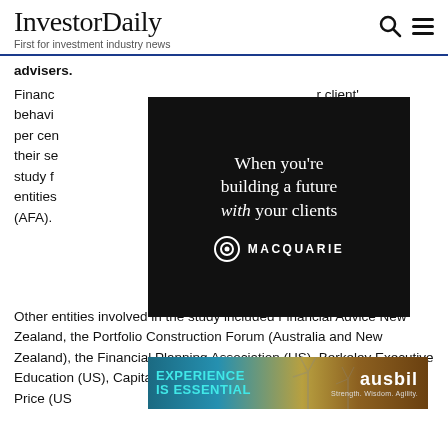InvestorDaily — First for investment industry news
advisers.
[Figure (illustration): Macquarie advertisement: black background with white serif text reading 'When you're building a future with your clients' (with 'with' in italic script) and Macquarie logo below]
Financial ... 'client' behaviour ... and 56 per cent ... recommend their services ... benchmarking study for ... and entities ... advisers (AFA).
Other entities involved in the study included Financial Advice New Zealand, the Portfolio Construction Forum (Australia and New Zealand), the Financial Planning Association (US), Berkeley Executive Education (US), Capital ... we Price (US ...
[Figure (illustration): Ausbil advertisement: background showing wind turbines at sunset, left side with 'EXPERIENCE IS ESSENTIAL' in cyan, right side with 'ausbil' brand name and tagline 'Strength. Wisdom. Agility.']